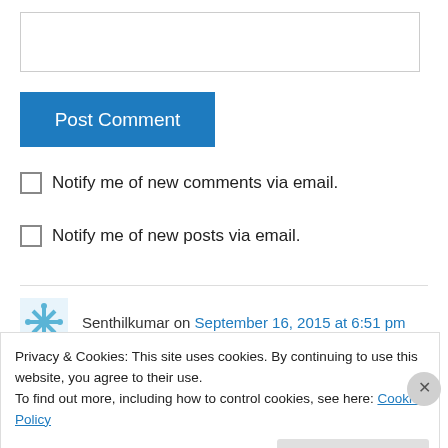[Figure (screenshot): Comment text input box, empty]
Post Comment
Notify me of new comments via email.
Notify me of new posts via email.
Senthilkumar on September 16, 2015 at 6:51 pm
Privacy & Cookies: This site uses cookies. By continuing to use this website, you agree to their use.
To find out more, including how to control cookies, see here: Cookie Policy
Close and accept